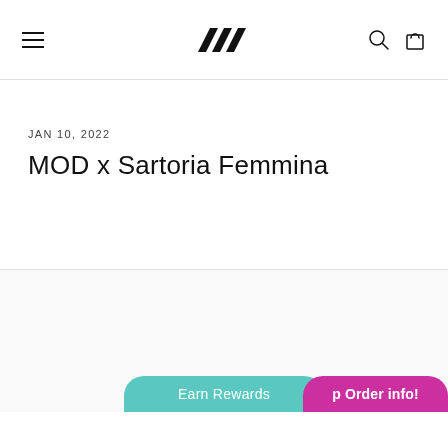MOD — navigation header with hamburger menu, logo, search and cart icons
JAN 10, 2022
MOD x Sartoria Femmina
Earn Rewards
p Order info!